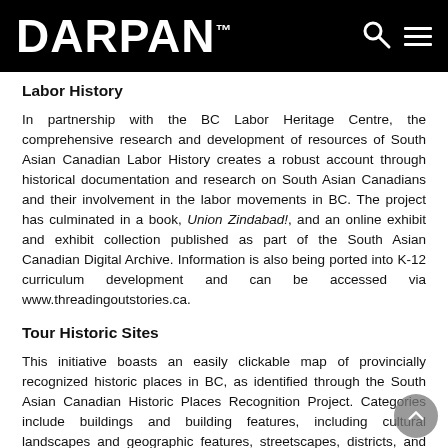DARPAN™
Labor History
In partnership with the BC Labor Heritage Centre, the comprehensive research and development of resources of South Asian Canadian Labor History creates a robust account through historical documentation and research on South Asian Canadians and their involvement in the labor movements in BC. The project has culminated in a book, Union Zindabad!, and an online exhibit and exhibit collection published as part of the South Asian Canadian Digital Archive. Information is also being ported into K-12 curriculum development and can be accessed via www.threadingoutstories.ca.
Tour Historic Sites
This initiative boasts an easily clickable map of provincially recognized historic places in BC, as identified through the South Asian Canadian Historic Places Recognition Project. Categories include buildings and building features, including cultural landscapes and geographic features, streetscapes, districts, and communities. Each location provides a photo, address, and link to an official website. The interactive map can be accessed via heritagebc.ca/cultural-maps/south-